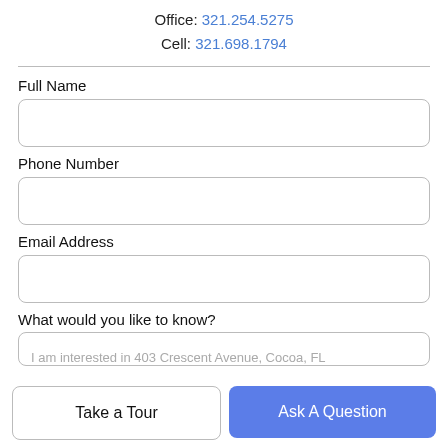Office: 321.254.5275
Cell: 321.698.1794
Full Name
Phone Number
Email Address
What would you like to know?
I am interested in 403 Crescent Avenue, Cocoa, FL
Take a Tour
Ask A Question